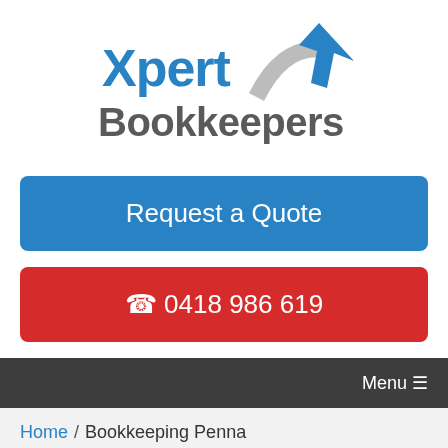[Figure (logo): Xpert Bookkeepers logo with blue arrow graphic and gray text]
Request a Quote
☎ 0418 986 619
Menu ☰
Home / Bookkeeping Penna